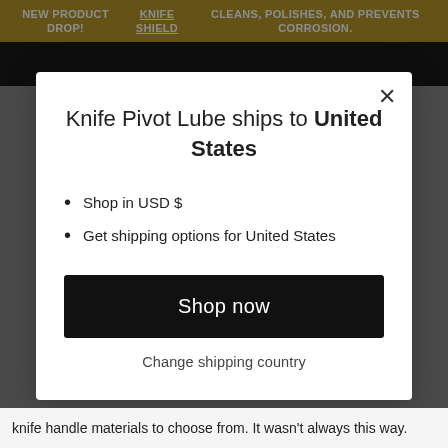NEW PRODUCT DROP! KNIFE SHIELD CLEANS, POLISHES, AND PREVENTS CORROSION.
Knife Pivot Lube ships to United States
Shop in USD $
Get shipping options for United States
Shop now
Change shipping country
knife handle materials to choose from. It wasn't always this way.